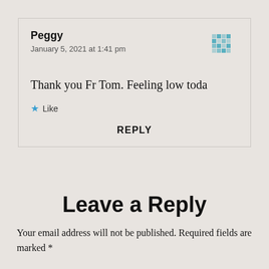Peggy
January 5, 2021 at 1:41 pm
Thank you Fr Tom. Feeling low toda
★ Like
REPLY
Leave a Reply
Your email address will not be published. Required fields are marked *